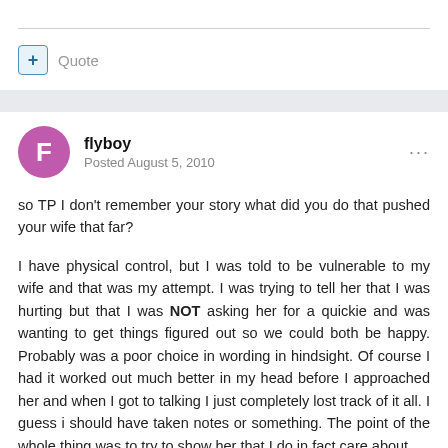+ Quote
flyboy
Posted August 5, 2010
so TP I don't remember your story what did you do that pushed your wife that far?
I have physical control, but I was told to be vulnerable to my wife and that was my attempt. I was trying to tell her that I was hurting but that I was NOT asking her for a quickie and was wanting to get things figured out so we could both be happy. Probably was a poor choice in wording in hindsight. Of course I had it worked out much better in my head before I approached her and when I got to talking I just completely lost track of it all. I guess i should have taken notes or something. The point of the whole thing was to try to show her that I do in fact care about